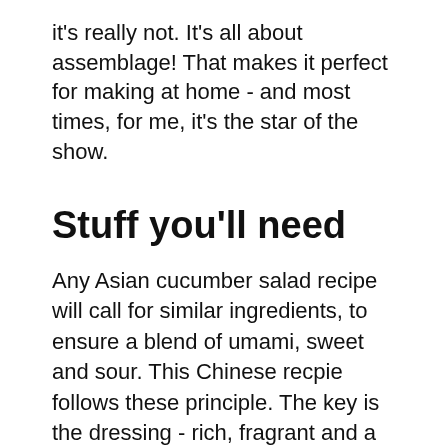it's really not. It's all about assemblage! That makes it perfect for making at home - and most times, for me, it's the star of the show.
Stuff you'll need
Any Asian cucumber salad recipe will call for similar ingredients, to ensure a blend of umami, sweet and sour. This Chinese recpie follows these principle. The key is the dressing - rich, fragrant and a burst of umami, smoky saltiness. I literally cannot get enough of the stuff! Here are some of the key ingredients for the salad - a full recipe is below.